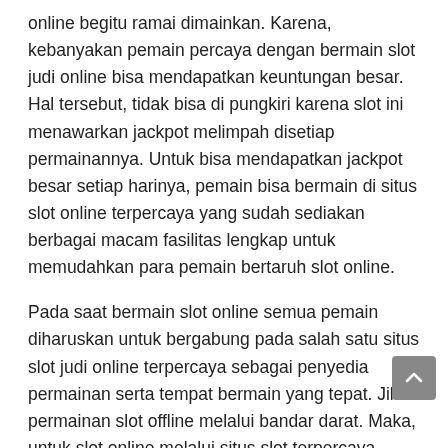online begitu ramai dimainkan. Karena, kebanyakan pemain percaya dengan bermain slot judi online bisa mendapatkan keuntungan besar. Hal tersebut, tidak bisa di pungkiri karena slot ini menawarkan jackpot melimpah disetiap permainannya. Untuk bisa mendapatkan jackpot besar setiap harinya, pemain bisa bermain di situs slot online terpercaya yang sudah sediakan berbagai macam fasilitas lengkap untuk memudahkan para pemain bertaruh slot online.
Pada saat bermain slot online semua pemain diharuskan untuk bergabung pada salah satu situs slot judi online terpercaya sebagai penyedia permainan serta tempat bermain yang tepat. Jika permainan slot offline melalui bandar darat. Maka, untuk slot online melalui situs slot terpercaya. Dengan begitu, para pemain bisa dengan mudah bermain slot online dengan aman serta lancar.
Macam-Macam Fasilitas